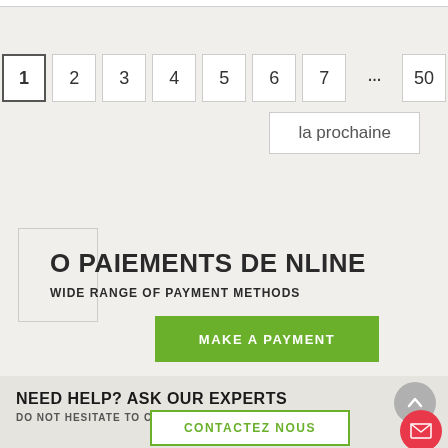[Figure (screenshot): Pagination control showing pages 1 through 7, ellipsis, and 50, with a 'la prochaine' (next) button]
O PAIEMENTS DE NLINE
WIDE RANGE OF PAYMENT METHODS
MAKE A PAYMENT
NEED HELP? ASK OUR EXPERTS
DO NOT HESITATE TO CONTACT US
CONTACTEZ NOUS